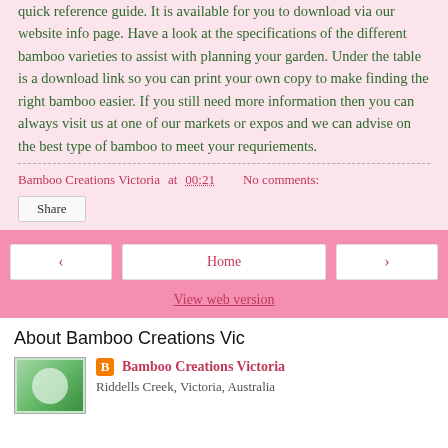quick reference guide. It is available for you to download via our website info page.  Have a look at the specifications of the different bamboo varieties to assist with planning your garden.  Under the table is a download link so you can print your own copy to make finding the right bamboo easier.  If you still need more information then you can always visit us at one of our markets or expos and we can advise on the best type of bamboo to meet your requriements.
Bamboo Creations Victoria at 00:21    No comments:
Share
‹  Home  ›  View web version
About Bamboo Creations Vic
Bamboo Creations Victoria
Riddells Creek, Victoria, Australia